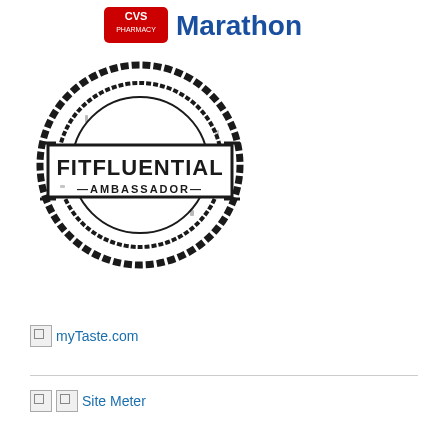[Figure (logo): CVS Pharmacy Marathon logo — red CVS Pharmacy badge on left, 'Marathon' in large blue text on right]
[Figure (logo): FitFluential Ambassador stamp logo — circular distressed rubber stamp with 'FITFLUENTIAL AMBASSADOR' text in center rectangle]
[Figure (logo): Broken image icon followed by 'myTaste.com' link text]
[Figure (logo): Two broken image icons followed by 'Site Meter' link text]